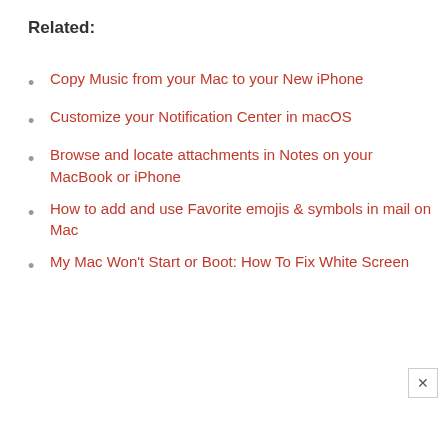Related:
Copy Music from your Mac to your New iPhone
Customize your Notification Center in macOS
Browse and locate attachments in Notes on your MacBook or iPhone
How to add and use Favorite emojis & symbols in mail on Mac
My Mac Won't Start or Boot: How To Fix White Screen